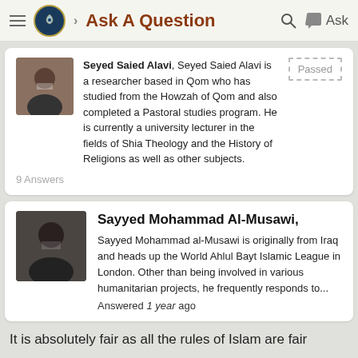Ask A Question
Seyed Saied Alavi, Seyed Saied Alavi is a researcher based in Qom who has studied from the Howzah of Qom and also completed a Pastoral studies program. He is currently a university lecturer in the fields of Shia Theology and the History of Religions as well as other subjects. 9 Answers
Sayyed Mohammad Al-Musawi, Sayyed Mohammad al-Musawi is originally from Iraq and heads up the World Ahlul Bayt Islamic League in London. Other than being involved in various humanitarian projects, he frequently responds to... Answered 1 year ago
It is absolutely fair as all the rules of Islam are fair